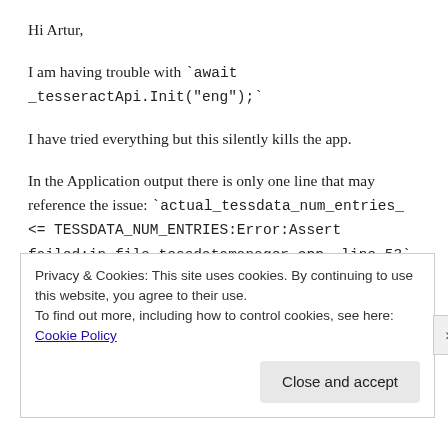Hi Artur,
I am having trouble with `await _tesseractApi.Init("eng");`
I have tried everything but this silently kills the app.
In the Application output there is only one line that may reference the issue: `actual_tessdata_num_entries_ <= TESSDATA_NUM_ENTRIES:Error:Assert failed:in file tessdatamanager.cpp, line 53`
Please let me know if this makes any sense to you.
Privacy & Cookies: This site uses cookies. By continuing to use this website, you agree to their use.
To find out more, including how to control cookies, see here: Cookie Policy